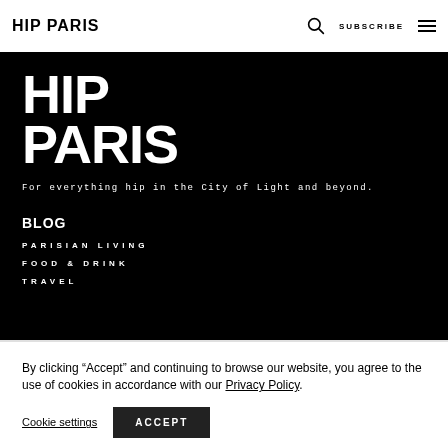HiP PARIS | SUBSCRIBE
[Figure (logo): HiP PARIS large white logo text on black background]
For everything hip in the City of Light and beyond.
BLOG
PARISIAN LIVING
FOOD & DRINK
TRAVEL
By clicking “Accept” and continuing to browse our website, you agree to the use of cookies in accordance with our Privacy Policy.
Cookie settings
ACCEPT